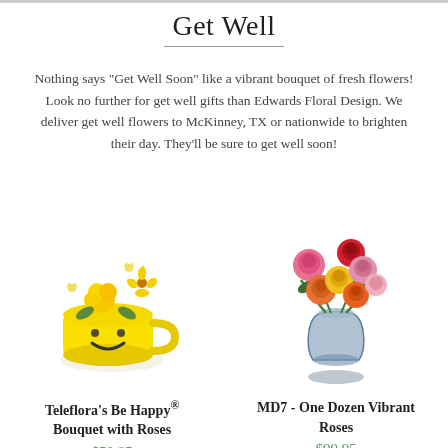Get Well
Nothing says "Get Well Soon" like a vibrant bouquet of fresh flowers! Look no further for get well gifts than Edwards Floral Design. We deliver get well flowers to McKinney, TX or nationwide to brighten their day. They'll be sure to get well soon!
[Figure (photo): Teleflora's Be Happy bouquet with yellow roses and daisies in a yellow smiley face mug]
Teleflora's Be Happy® Bouquet with Roses
$50.95
[Figure (photo): MD7 - One Dozen Vibrant Roses in various colors including pink, red, orange and yellow in a glass vase]
MD7 - One Dozen Vibrant Roses
$99.95